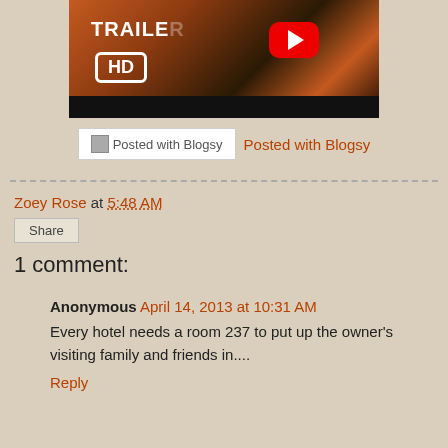[Figure (screenshot): YouTube video thumbnail showing a movie trailer with HD badge, red YouTube play button, and orange/dark patterned background (appears to be The Shining trailer)]
Posted with Blogsy   Posted with Blogsy
Zoey Rose at 5:48 AM
Share
1 comment:
Anonymous April 14, 2013 at 10:31 AM
Every hotel needs a room 237 to put up the owner's visiting family and friends in....
Reply